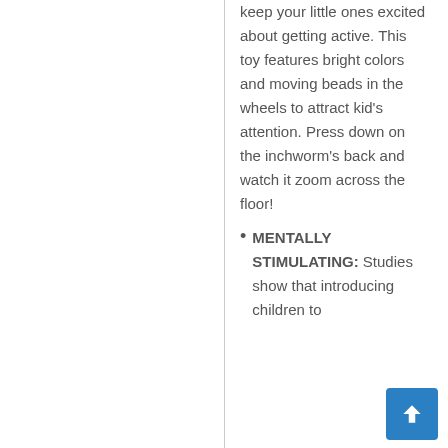keep your little ones excited about getting active. This toy features bright colors and moving beads in the wheels to attract kid's attention. Press down on the inchworm's back and watch it zoom across the floor!
MENTALLY STIMULATING: Studies show that introducing children to